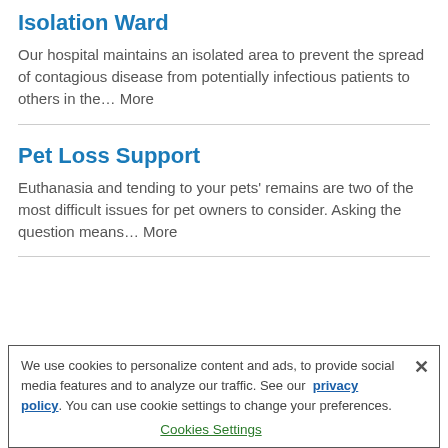Isolation Ward
Our hospital maintains an isolated area to prevent the spread of contagious disease from potentially infectious patients to others in the… More
Pet Loss Support
Euthanasia and tending to your pets' remains are two of the most difficult issues for pet owners to consider. Asking the question means… More
We use cookies to personalize content and ads, to provide social media features and to analyze our traffic. See our privacy policy. You can use cookie settings to change your preferences.
Cookies Settings